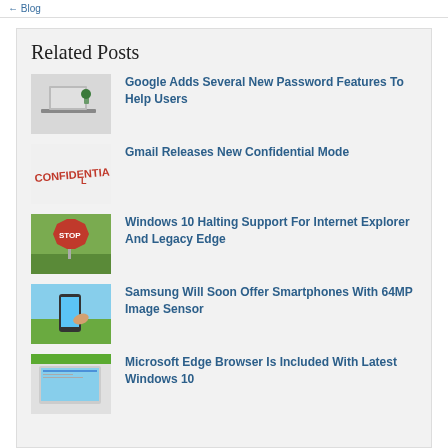Related Posts
Google Adds Several New Password Features To Help Users
Gmail Releases New Confidential Mode
Windows 10 Halting Support For Internet Explorer And Legacy Edge
Samsung Will Soon Offer Smartphones With 64MP Image Sensor
Microsoft Edge Browser Is Included With Latest Windows 10